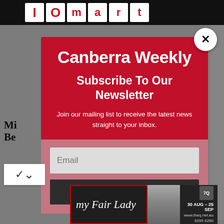[Figure (screenshot): Top navigation banner with dark background and red/white logo letters]
Mi... Be...
This... ody was...
News...
[Figure (screenshot): Newsletter subscription modal popup overlay on Canberra Weekly website. Red modal with white text showing 'Canberra Weekly' logo, 'Subscribe To Our Newsletter' heading, 'Join our mailing list to receive the latest news straight to your inbox.' body text, email input field, and SUBSCRIBE! button. Close X button in top right.]
[Figure (screenshot): My Fair Lady advertisement banner at bottom. Dark background with script title 'My Fair Lady', dates '30 Aug - 25 Sep', website 'www.theq.net.au', phone '6285 6290', and 7Q logo. Lady in decorative hat on right side.]
Canberra Weekly newsletter subscription popup